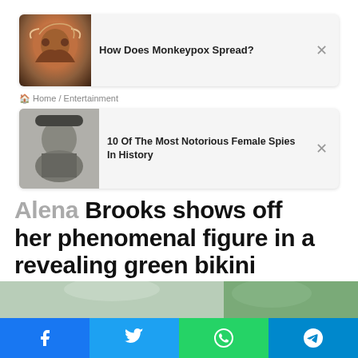[Figure (screenshot): Ad card 1: Monkeypox image thumbnail with text 'How Does Monkeypox Spread?' and close button]
Home / Entertainment
[Figure (screenshot): Ad card 2: Black and white photo of woman in military hat with text '10 Of The Most Notorious Female Spies In History' and close button]
Alena Brooks shows off her phenomenal figure in a revealing green bikini
Ashley · March 7, 2022 🔥 12
[Figure (infographic): Social share buttons: Facebook, Twitter, LinkedIn, Tumblr, Pinterest, Reddit]
[Figure (photo): Photo strip showing woman in green bikini]
[Figure (infographic): Bottom share bar: Facebook, Twitter, WhatsApp, Telegram icons]